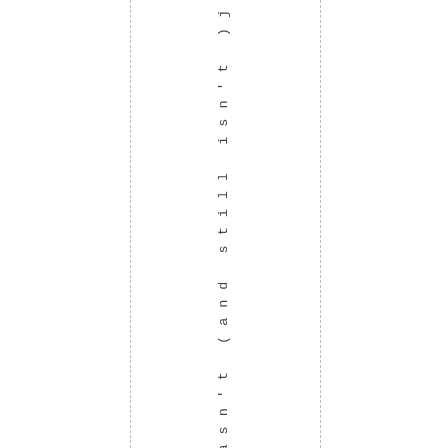onera. It wasn't (and still isn't )j